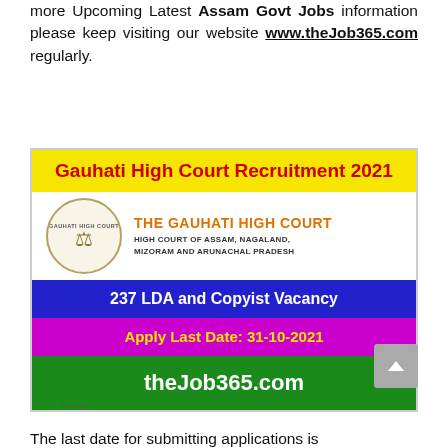more Upcoming Latest Assam Govt Jobs information please keep visiting our website www.theJob365.com regularly.
[Figure (infographic): Gauhati High Court Recruitment 2021 promotional banner with yellow header, court logo, blue bar showing 237 LDA and Copyist Vacancy, magenta bar with Apply Last Date: 31-10-2021, and green bar with theJob365.com]
The last date for submitting applications is